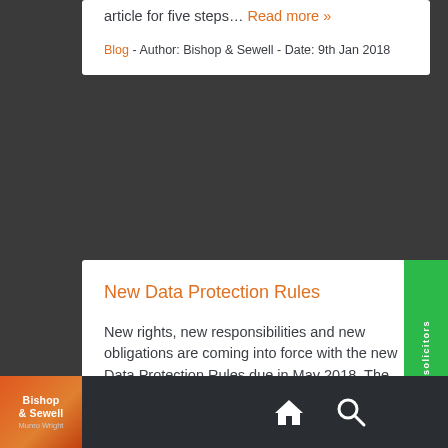article for five steps… Read more »
Blog - Author: Bishop & Sewell - Date: 9th Jan 2018
New Data Protection Rules
New rights, new responsibilities and new obligations are coming into force with the new Data Protection Rules due in May 2018. The new law… Read more »
Legal Updates - Author: Bishop & Sewell - Date: 8th Feb 2017
Bishop & Sewell | Munro Wright